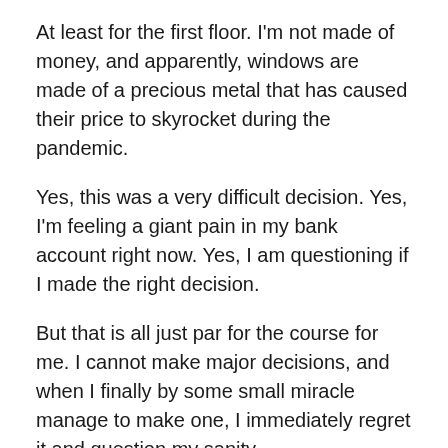At least for the first floor.  I'm not made of money, and apparently, windows are made of a precious metal that has caused their price to skyrocket during the pandemic.
Yes, this was a very difficult decision.  Yes, I'm feeling a giant pain in my bank account right now.  Yes, I am questioning if I made the right decision.
But that is all just par for the course for me.  I cannot make major decisions, and when I finally by some small miracle manage to make one, I immediately regret it and question my sanity.
Alas, it is too late now.  The windows are in, the check has been written, and the contractors have left.
I must admit, they look amazing.  People told me it would be a big loss to trade in the old school, fancy design